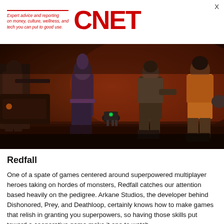X
Expert advice and reporting on money, culture, wellness, and tech you can put to good use. CNET
[Figure (photo): Four characters with weapons standing in a dark, orange-lit environment with a small robot drone in the middle, from the game Redfall.]
Redfall
One of a spate of games centered around superpowered multiplayer heroes taking on hordes of monsters, Redfall catches our attention based heavily on the pedigree. Arkane Studios, the developer behind Dishonored, Prey, and Deathloop, certainly knows how to make games that relish in granting you superpowers, so having those skills put toward a cooperative game make it one to watch.